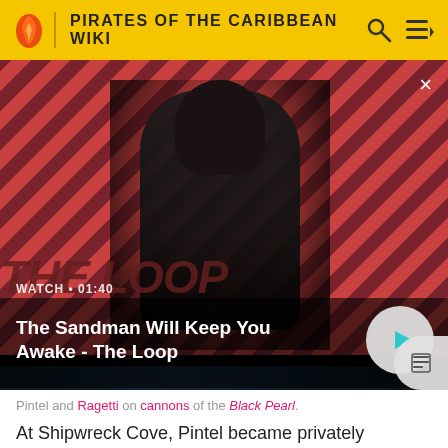PIRATES OF THE CARIBBEAN WIKI
[Figure (screenshot): Video thumbnail showing a dark-clothed figure with a raven on shoulder against a red and dark diagonal-striped background. Text overlay: WATCH • 01:40 / The Sandman Will Keep You Awake - The Loop. A play button is visible on the right. Below is a dark scene image.]
Pintel and Ragetti on cannons of the Black Pearl.
At Shipwreck Cove, Pintel became privately disdainful of the Pirate Lords, unimpressed by their pieces of eight